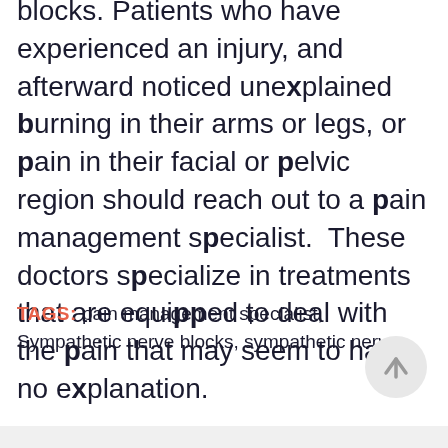blocks. Patients who have experienced an injury, and afterward noticed unexplained burning in their arms or legs, or pain in their facial or pelvic region should reach out to a pain management specialist. These doctors specialize in treatments that are equipped to deal with the pain that may seem to have no explanation.
TAGS: pain management specialist, Sympathetic nerve blocks, sympathetic nerves
[Figure (other): Circular scroll-to-top button with an upward arrow icon]